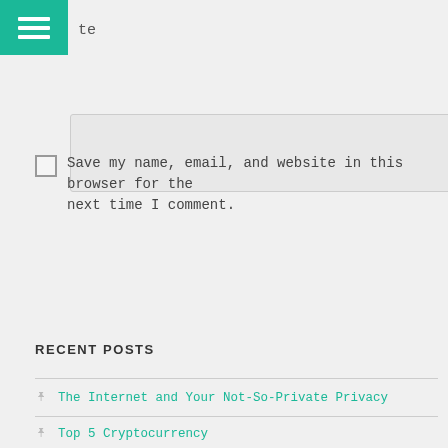te
Save my name, email, and website in this browser for the next time I comment.
Post Comment
RECENT POSTS
The Internet and Your Not-So-Private Privacy
Top 5 Cryptocurrency